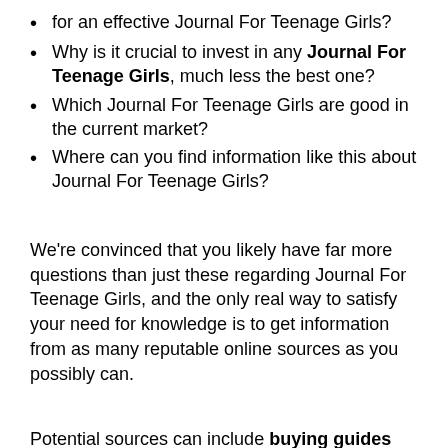for an effective Journal For Teenage Girls?
Why is it crucial to invest in any Journal For Teenage Girls, much less the best one?
Which Journal For Teenage Girls are good in the current market?
Where can you find information like this about Journal For Teenage Girls?
We're convinced that you likely have far more questions than just these regarding Journal For Teenage Girls, and the only real way to satisfy your need for knowledge is to get information from as many reputable online sources as you possibly can.
Potential sources can include buying guides for Journal For Teenage Girls, rating websites, word-of-mouth testimonials, online forums, and product reviews. Thorough and mindful research is crucial to making sure you get your